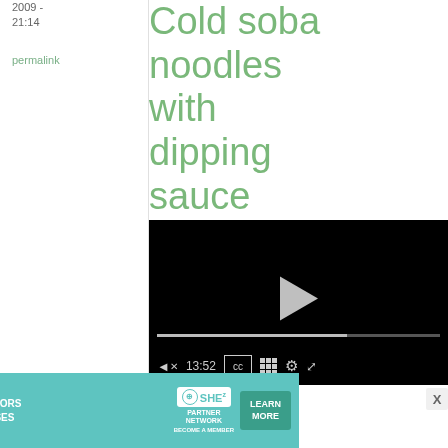2009 - 21:14
permalink
Cold soba noodles with dipping sauce
[Figure (screenshot): Video player showing a food video, paused with a play button visible, progress bar at roughly 13:52, with controls for mute, time, captions, grid, settings, and fullscreen.]
soba/buckwheat,
[Figure (infographic): Advertisement banner for SHE Media Partner Network. Text reads: WE HELP CONTENT CREATORS GROW BUSINESSES THROUGH... with LEARN MORE button.]